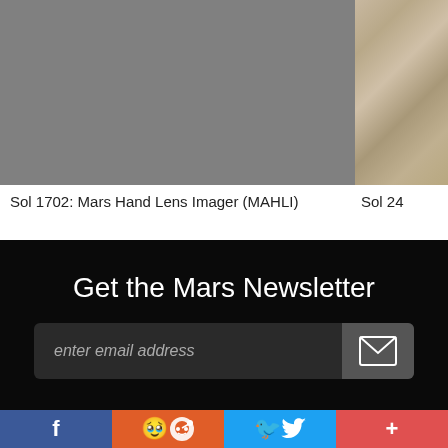[Figure (photo): Gray sky or surface image taken by Mars Hand Lens Imager (MAHLI) on Sol 1702]
[Figure (photo): Partial view of rocky Martian surface, Sol 24 image]
Sol 1702: Mars Hand Lens Imager (MAHLI)
Sol 24
Get the Mars Newsletter
enter email address